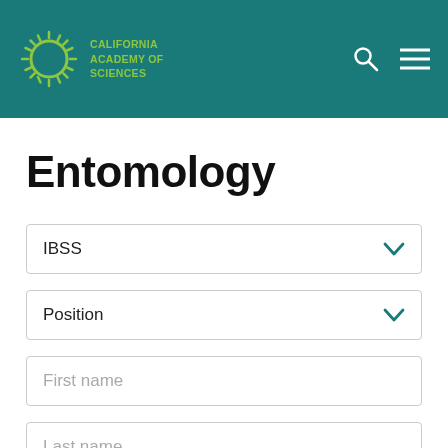[Figure (logo): California Academy of Sciences logo with sunburst icon in green and white text on teal header background]
Entomology
IBSS (dropdown)
Position (dropdown)
First name (input field)
Last name (input field)